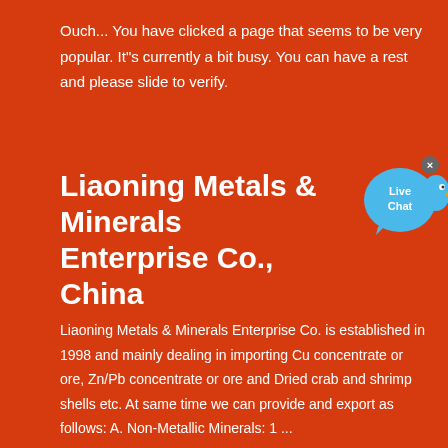Ouch... You have clicked a page that seems to be very popular. It"s currently a bit busy. You can have a rest and please slide to verify.
Liaoning Metals & Minerals Enterprise Co., China
[Figure (illustration): Live Chat button bubble in blue with a bird/mascot and a close X button in the top right]
Liaoning Metals & Minerals Enterprise Co. is established in 1998 and mainly dealing in importing Cu concentrate or ore, Zn/Pb concentrate or ore and Dried crab and shrimp shells etc. At same time we can provide and export as follows: A. Non-Metallic Minerals: 1 ...